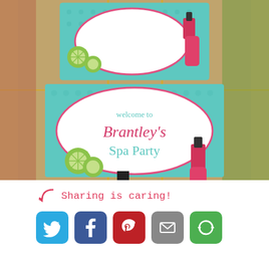[Figure (photo): Photo of two spa party welcome signs on a glass door/window. The signs have a teal/mint background with a white oval frame, cucumber slices, and a pink nail polish bottle. The lower sign reads 'welcome to Brantley's Spa Party' in pink and teal script/font.]
Sharing is caring!
[Figure (infographic): Social sharing buttons row: Twitter (blue bird), Facebook (blue f), Pinterest (red P), Email (grey envelope), More (green circular arrows)]